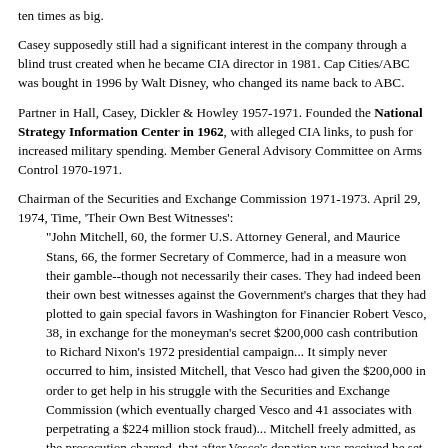ten times as big.
Casey supposedly still had a significant interest in the company through a blind trust created when he became CIA director in 1981. Cap Cities/ABC was bought in 1996 by Walt Disney, who changed its name back to ABC.
Partner in Hall, Casey, Dickler & Howley 1957-1971. Founded the National Strategy Information Center in 1962, with alleged CIA links, to push for increased military spending. Member General Advisory Committee on Arms Control 1970-1971.
Chairman of the Securities and Exchange Commission 1971-1973. April 29, 1974, Time, 'Their Own Best Witnesses': "John Mitchell, 60, the former U.S. Attorney General, and Maurice Stans, 66, the former Secretary of Commerce, had in a measure won their gamble--though not necessarily their cases. They had indeed been their own best witnesses against the Government's charges that they had plotted to gain special favors in Washington for Financier Robert Vesco, 38, in exchange for the moneyman's secret $200,000 cash contribution to Richard Nixon's 1972 presidential campaign... It simply never occurred to him, insisted Mitchell, that Vesco had given the $200,000 in order to get help in his struggle with the Securities and Exchange Commission (which eventually charged Vesco and 41 associates with perpetrating a $224 million stock fraud)... Mitchell freely admitted, as the prosecution charged, that after Vesco's donation was received he set up a meeting between the financier's lawyer and William Casey, then head of the SEC."